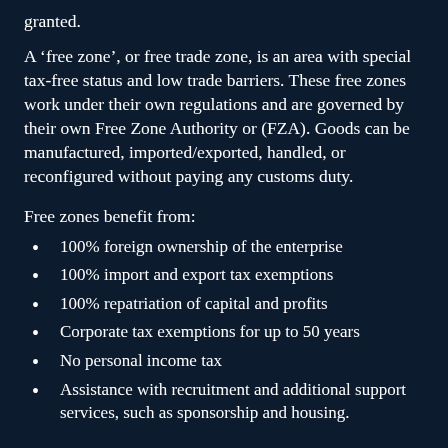granted.
A ‘free zone’, or free trade zone, is an area with special tax-free status and low trade barriers. These free zones work under their own regulations and are governed by their own Free Zone Authority or (FZA). Goods can be manufactured, imported/exported, handled, or reconfigured without paying any customs duty.
Free zones benefit from:
100% foreign ownership of the enterprise
100% import and export tax exemptions
100% repatriation of capital and profits
Corporate tax exemptions for up to 50 years
No personal income tax
Assistance with recruitment and additional support services, such as sponsorship and housing.